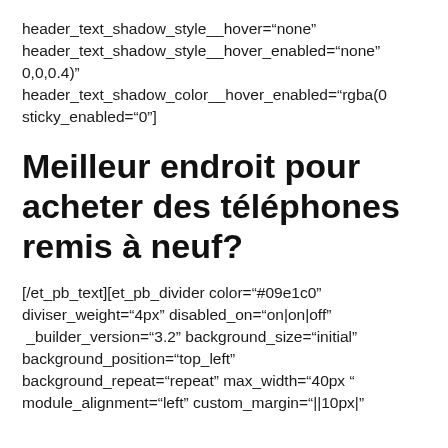header_text_shadow_style__hover="none" header_text_shadow_style__hover_enabled="none" 0,0,0.4)" header_text_shadow_color__hover_enabled="rgba(0 sticky_enabled="0"]
Meilleur endroit pour acheter des téléphones remis à neuf?
[/et_pb_text][et_pb_divider color="#09e1c0" diviser_weight="4px" disabled_on="on|on|off" _builder_version="3.2" background_size="initial" background_position="top_left" background_repeat="repeat" max_width="40px " module_alignment="left" custom_margin="||10px|"